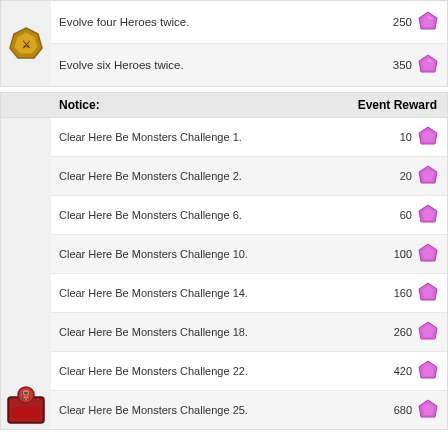| Notice | Event Reward |
| --- | --- |
| Evolve four Heroes twice. | 250 |
| Evolve six Heroes twice. | 350 |
| Notice | Event Reward |
| --- | --- |
| Clear Here Be Monsters Challenge 1. | 10 |
| Clear Here Be Monsters Challenge 2. | 20 |
| Clear Here Be Monsters Challenge 6. | 60 |
| Clear Here Be Monsters Challenge 10. | 100 |
| Clear Here Be Monsters Challenge 14. | 160 |
| Clear Here Be Monsters Challenge 18. | 260 |
| Clear Here Be Monsters Challenge 22. | 420 |
| Clear Here Be Monsters Challenge 25. | 680 |